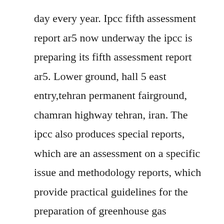day every year. Ipcc fifth assessment report ar5 now underway the ipcc is preparing its fifth assessment report ar5. Lower ground, hall 5 east entry,tehran permanent fairground, chamran highway tehran, iran. The ipcc also produces special reports, which are an assessment on a specific issue and methodology reports, which provide practical guidelines for the preparation of greenhouse gas inventories. Ipcc ar5 synthesis report highlights of the ipcc fifth assessment report 2.